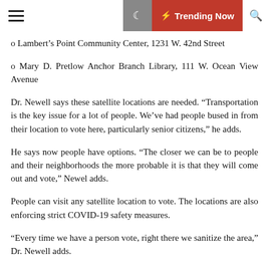Trending Now
o Lambert's Point Community Center, 1231 W. 42nd Street
o Mary D. Pretlow Anchor Branch Library, 111 W. Ocean View Avenue
Dr. Newell says these satellite locations are needed. “Transportation is the key issue for a lot of people. We’ve had people bused in from their location to vote here, particularly senior citizens,” he adds.
He says now people have options. “The closer we can be to people and their neighborhoods the more probable it is that they will come out and vote,” Newel adds.
People can visit any satellite location to vote. The locations are also enforcing strict COVID-19 safety measures.
“Every time we have a person vote, right there we sanitize the area,” Dr. Newell adds.